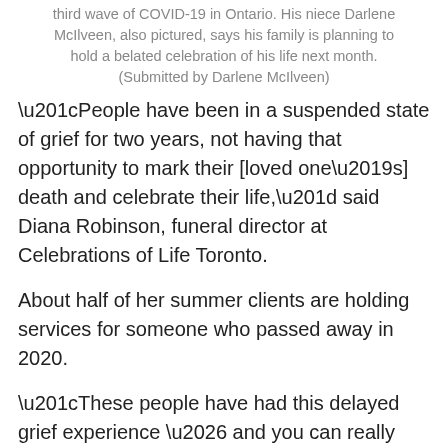third wave of COVID-19 in Ontario. His niece Darlene McIlveen, also pictured, says his family is planning to hold a belated celebration of his life next month. (Submitted by Darlene McIlveen)
“People have been in a suspended state of grief for two years, not having that opportunity to mark their [loved one’s] death and celebrate their life,” said Diana Robinson, funeral director at Celebrations of Life Toronto.
About half of her summer clients are holding services for someone who passed away in 2020.
“These people have had this delayed grief experience … and you can really see the effects on the families like that.”
Similarly, Lougheed Funeral Home in Sudbury, Ont., holds about five memorial services each Saturday,